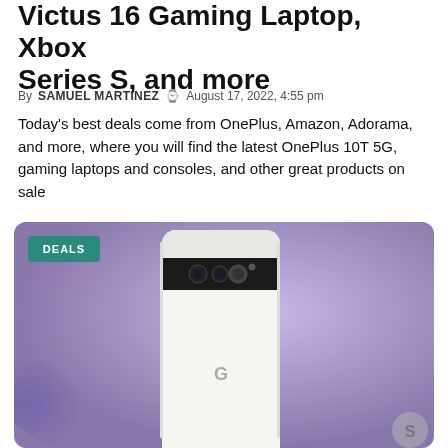Victus 16 Gaming Laptop, Xbox Series S, and more
By SAMUEL MARTINEZ  August 17, 2022, 4:55 pm
Today's best deals come from OnePlus, Amazon, Adorama, and more, where you will find the latest OnePlus 10T 5G, gaming laptops and consoles, and other great products on sale
[Figure (photo): Back view of a Google Pixel 6 Pro smartphone in white/chalk color, showing the distinctive horizontal camera bar with multiple lenses, against a purple/lavender blurred background. A teal 'DEALS' badge appears in the top-left corner of the image.]